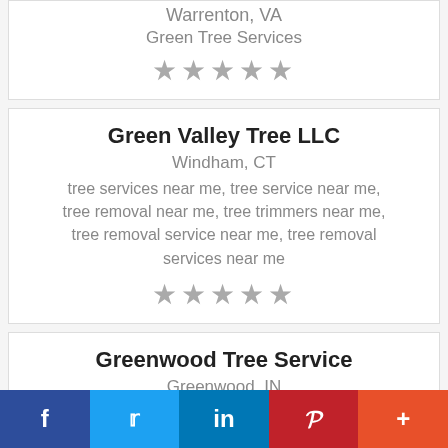Warrenton, VA
Green Tree Services
★★★★★
Green Valley Tree LLC
Windham, CT
tree services near me, tree service near me, tree removal near me, tree trimmers near me, tree removal service near me, tree removal services near me
★★★★★
Greenwood Tree Service
Greenwood, IN
We offer a
★★★★★
f  🐦  in  P  +